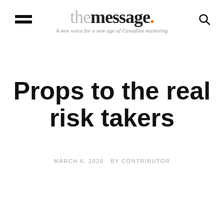themessage. — A new voice for a new age of Canadian marketing
Props to the real risk takers
MARCH 6, 2020  BY CONTRIBUTOR